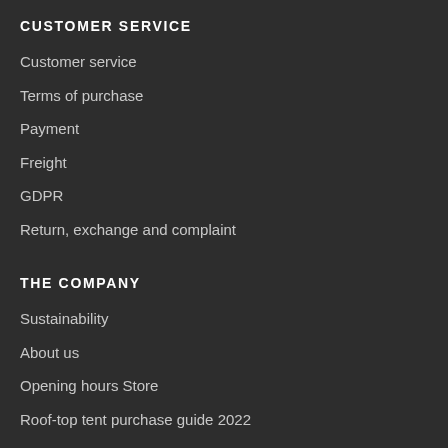CUSTOMER SERVICE
Customer service
Terms of purchase
Payment
Freight
GDPR
Return, exchange and complaint
THE COMPANY
Sustainability
About us
Opening hours Store
Roof-top tent purchase guide 2022
News